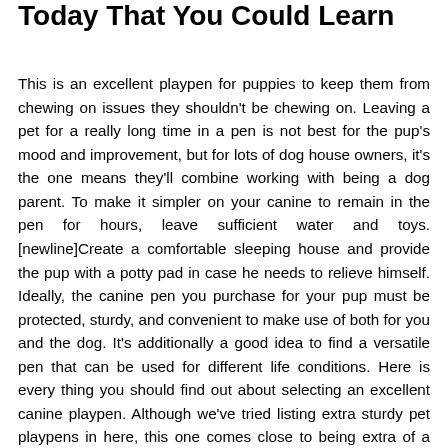Today That You Could Learn
This is an excellent playpen for puppies to keep them from chewing on issues they shouldn't be chewing on. Leaving a pet for a really long time in a pen is not best for the pup's mood and improvement, but for lots of dog house owners, it's the one means they'll combine working with being a dog parent. To make it simpler on your canine to remain in the pen for hours, leave sufficient water and toys. [newline]Create a comfortable sleeping house and provide the pup with a potty pad in case he needs to relieve himself. Ideally, the canine pen you purchase for your pup must be protected, sturdy, and convenient to make use of both for you and the dog. It's additionally a good idea to find a versatile pen that can be used for different life conditions. Here is every thing you should find out about selecting an excellent canine playpen. Although we've tried listing extra sturdy pet playpens in here, this one comes close to being extra of a light-weight, and temporary table or...